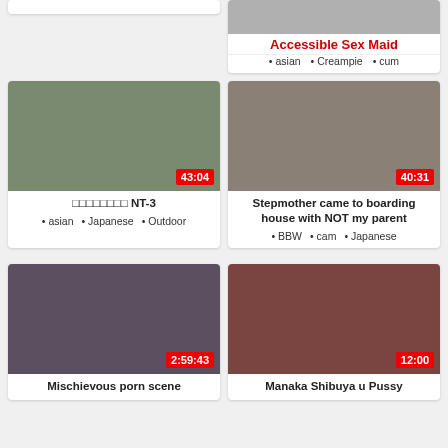[Figure (screenshot): Partial top-left video thumbnail card (cut off at top)]
[Figure (screenshot): Top-right partial card: Accessible Sex Maid with tags asian, Creampie, cum]
[Figure (screenshot): Video thumbnail card: Japanese outdoor video NT-3, duration 43:04, tags: asian, Japanese, Outdoor]
□□□□□□□□ NT-3
• asian  • Japanese  • Outdoor
[Figure (screenshot): Video thumbnail: Stepmother came to boarding house with NOT my parent, duration 40:31]
Stepmother came to boarding house with NOT my parent
• BBW  • cam  • Japanese
[Figure (screenshot): Video thumbnail: Mischievous porn scene, duration 2:59:43]
Mischievous porn scene
[Figure (screenshot): Video thumbnail: Manaka Shibuya u Pussy, duration 12:00]
Manaka Shibuya u Pussy